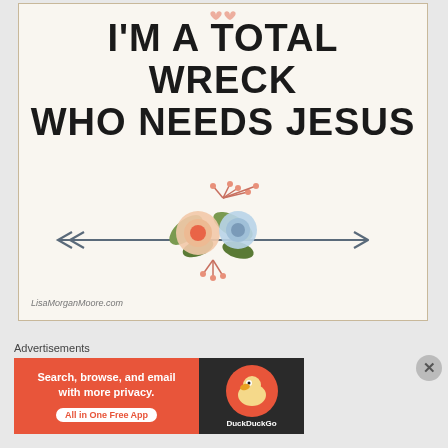[Figure (illustration): Greeting card with text 'I'M A TOTAL WRECK WHO NEEDS JESUS' on cream background with floral arrow illustration and watermark LisaMorganMoore.com]
Advertisements
[Figure (screenshot): DuckDuckGo advertisement banner: 'Search, browse, and email with more privacy. All in One Free App' on orange background with DuckDuckGo duck logo on dark right panel]